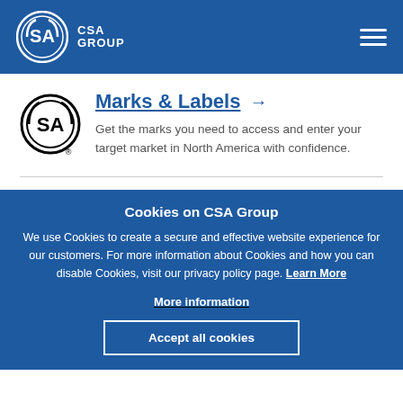CSA Group
[Figure (logo): CSA Group logo with circular emblem and CSA GROUP text, white on blue background]
Marks & Labels →
Get the marks you need to access and enter your target market in North America with confidence.
Cookies on CSA Group
We use Cookies to create a secure and effective website experience for our customers. For more information about Cookies and how you can disable Cookies, visit our privacy policy page. Learn More
More information
Accept all cookies